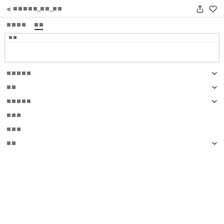< [Korean navigation text] [share icon] [heart icon]
[Tab 1: Korean] [Tab 2: Korean - active]
[Content box with label and inner content area]
[Section item with chevron - 5 chars]
[Section item with chevron - 2 chars]
[Section item with chevron - 5 chars]
[Section plain - 3 chars]
[Section plain - 3 chars]
[Section item with chevron - 2 chars]